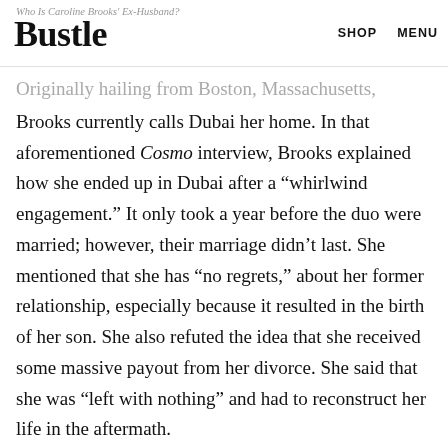Who Is Caroline Brooks' Ex-Husband? | Bustle | SHOP | MENU
Originally hailing from Boston, Massachusetts, Brooks currently calls Dubai her home. In that aforementioned Cosmo interview, Brooks explained how she ended up in Dubai after a “whirlwind engagement.” It only took a year before the duo were married; however, their marriage didn’t last. She mentioned that she has “no regrets,” about her former relationship, especially because it resulted in the birth of her son. She also refuted the idea that she received some massive payout from her divorce. She said that she was “left with nothing” and had to reconstruct her life in the aftermath.